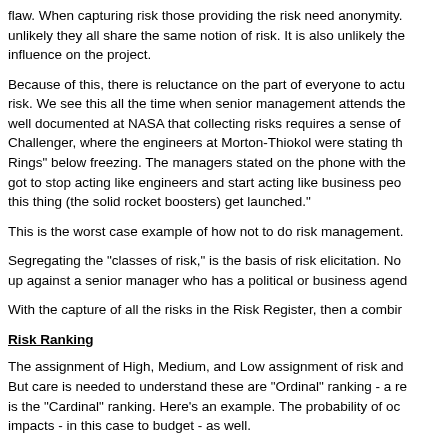flaw. When capturing risk those providing the risk need anonymity. It is unlikely they all share the same notion of risk. It is also unlikely the influence on the project.
Because of this, there is reluctance on the part of everyone to actu risk. We see this all the time when senior management attends the well documented at NASA that collecting risks requires a sense of Challenger, where the engineers at Morton-Thiokol were stating th Rings" below freezing. The managers stated on the phone with the got to stop acting like engineers and start acting like business peo this thing (the solid rocket boosters) get launched."
This is the worst case example of how not to do risk management.
Segregating the "classes of risk," is the basis of risk elicitation. No up against a senior manager who has a political or business agend
With the capture of all the risks in the Risk Register, then a combir
Risk Ranking
The assignment of High, Medium, and Low assignment of risk and But care is needed to understand these are "Ordinal" ranking - a re is the "Cardinal" ranking. Here's an example. The probability of oc impacts - in this case to budget - as well.